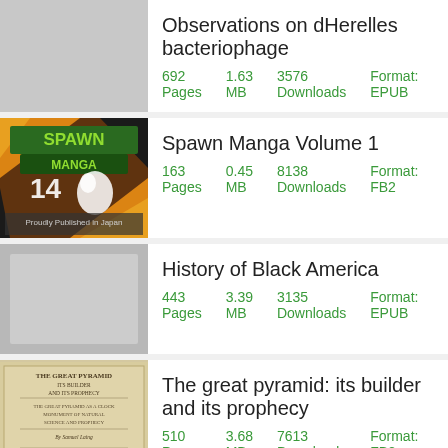Observations on dHerelles bacteriophage
692 Pages   1.63 MB   3576 Downloads   Format: EPUB
[Figure (illustration): Spawn Manga Volume 1 book cover with colorful manga-style artwork]
Spawn Manga Volume 1
163 Pages   0.45 MB   8138 Downloads   Format: FB2
[Figure (illustration): Gray placeholder for History of Black America book cover]
History of Black America
443 Pages   3.39 MB   3135 Downloads   Format: EPUB
[Figure (illustration): The Great Pyramid book cover - aged beige/cream colored book cover with text]
The great pyramid: its builder and its prophecy
510 Pages   3.68 MB   7613 Downloads   Format: FB2